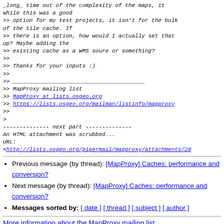_long_ time out of the complexity of the maps, it
while this was a good
>> option for my test projects, it isn't for the bulk
of the tile cache. If
>> there is an option, how would I actually set that
up? Maybe adding the
>> existing cache as a WMS soure or something?
>>
>> Thanks for your inputs :)
>>
>> ________________________________________
>> MapProxy mailing list
>> MapProxy at lists.osgeo.org
>> https://lists.osgeo.org/mailman/listinfo/mapproxy
>>
>
-------------- next part --------------
An HTML attachment was scrubbed...
URL:
<http://lists.osgeo.org/pipermail/mapproxy/attachments/20...
Previous message (by thread): [MapProxy] Caches: performance and conversion?
Next message (by thread): [MapProxy] Caches: performance and conversion?
Messages sorted by: [ date ] [ thread ] [ subject ] [ author ]
More information about the MapProxy mailing list